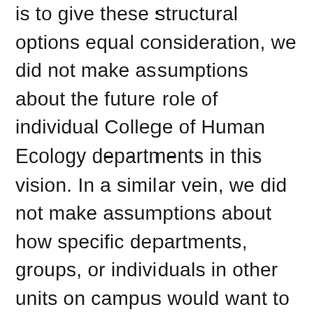is to give these structural options equal consideration, we did not make assumptions about the future role of individual College of Human Ecology departments in this vision. In a similar vein, we did not make assumptions about how specific departments, groups, or individuals in other units on campus would want to engage with any policy entity. As a result, we look forward to a vibrant dialogue with the relevant stakeholders in the College of Human Ecology and a host of other units across campus around how, if at all, they